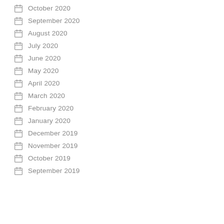October 2020
September 2020
August 2020
July 2020
June 2020
May 2020
April 2020
March 2020
February 2020
January 2020
December 2019
November 2019
October 2019
September 2019